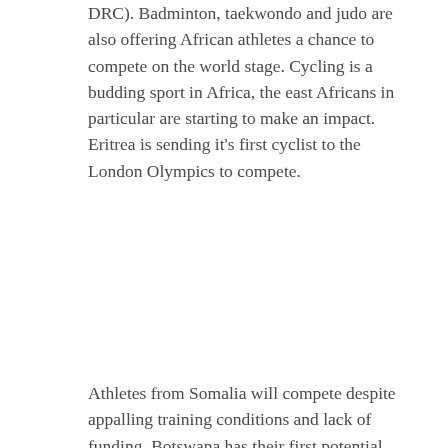DRC). Badminton, taekwondo and judo are also offering African athletes a chance to compete on the world stage. Cycling is a budding sport in Africa, the east Africans in particular are starting to make an impact. Eritrea is sending it's first cyclist to the London Olympics to compete.
Athletes from Somalia will compete despite appalling training conditions and lack of funding. Botswana has their first potential Olympic medal